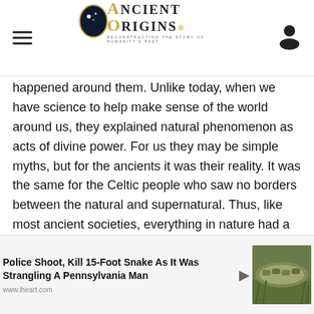Ancient Origins — Reconstructing the story of humanity's past
happened around them. Unlike today, when we have science to help make sense of the world around us, they explained natural phenomenon as acts of divine power. For us they may be simple myths, but for the ancients it was their reality. It was the same for the Celtic people who saw no borders between the natural and supernatural. Thus, like most ancient societies, everything in nature had a religious significance.
[Figure (other): Advertisement banner: Police Shoot, Kill 15-Foot Snake As It Was Strangling A Pennsylvania Man — www.iheart.com — with image of a snake in grass]